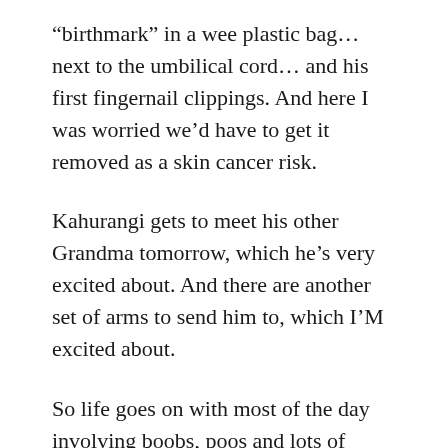“birthmark” in a wee plastic bag… next to the umbilical cord… and his first fingernail clippings. And here I was worried we’d have to get it removed as a skin cancer risk.
Kahurangi gets to meet his other Grandma tomorrow, which he’s very excited about. And there are another set of arms to send him to, which I’M excited about.
So life goes on with most of the day involving boobs, poos and lots of dazed watching of tv. Not much to expect from my brain – I tried to make a phone call with the remote control, but hoping to get off some personal emails sometime this month. Wishing you all a fond